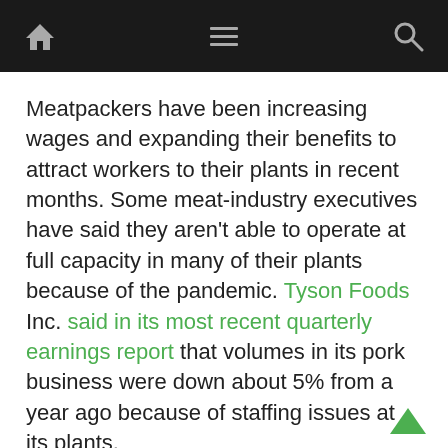Navigation bar with home icon, hamburger menu, and search icon
Meatpackers have been increasing wages and expanding their benefits to attract workers to their plants in recent months. Some meat-industry executives have said they aren't able to operate at full capacity in many of their plants because of the pandemic. Tyson Foods Inc. said in its most recent quarterly earnings report that volumes in its pork business were down about 5% from a year ago because of staffing issues at its plants.
The supply of hogs in the U.S. also isn't expected to grow soon as higher feed, labor and other risks have discouraged expansion.